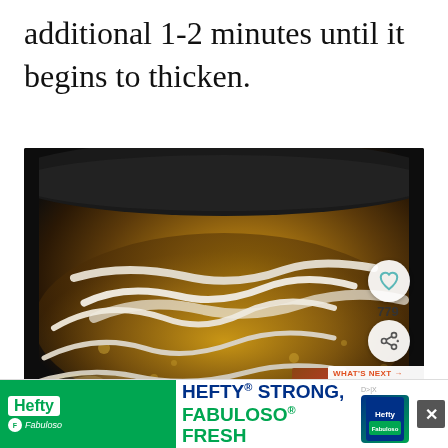additional 1-2 minutes until it begins to thicken.
[Figure (photo): A dark non-stick skillet pan containing caramelized onions cooking in a golden-brown liquid/broth, viewed from above. The onions are sliced into strips and simmering in a bubbling amber sauce. Overlaid UI elements include a heart/favorite icon (teal), a count of 779, a share icon, and a 'What's Next' card showing 'The Best Ever Skillet Pork...']
[Figure (other): Advertisement banner: Hefty HEFTY STRONG, FABULOSO FRESH with Hefty and Fabuloso logos on green background]